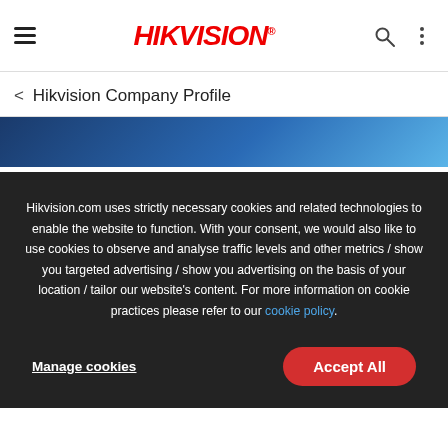HIKVISION
< Hikvision Company Profile
[Figure (photo): Blue gradient banner image for Hikvision Company Profile page]
Hikvision.com uses strictly necessary cookies and related technologies to enable the website to function. With your consent, we would also like to use cookies to observe and analyse traffic levels and other metrics / show you targeted advertising / show you advertising on the basis of your location / tailor our website's content. For more information on cookie practices please refer to our cookie policy.
Manage cookies
Accept All